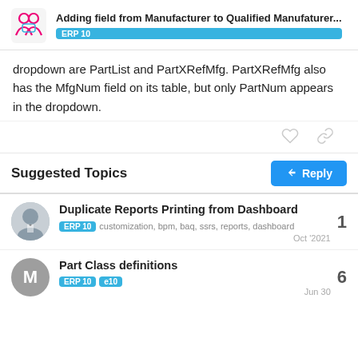Adding field from Manufacturer to Qualified Manufaturer... | ERP 10
dropdown are PartList and PartXRefMfg. PartXRefMfg also has the MfgNum field on its table, but only PartNum appears in the dropdown.
Suggested Topics
Duplicate Reports Printing from Dashboard
ERP 10  customization, bpm, baq, ssrs, reports, dashboard
Oct '2021
1
Part Class definitions
ERP 10  e10
Jun 30
6